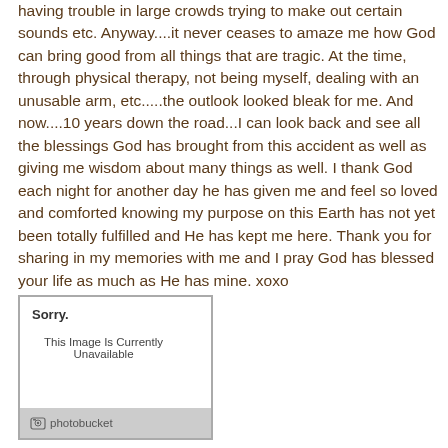having trouble in large crowds trying to make out certain sounds etc. Anyway....it never ceases to amaze me how God can bring good from all things that are tragic. At the time, through physical therapy, not being myself, dealing with an unusable arm, etc.....the outlook looked bleak for me. And now....10 years down the road...I can look back and see all the blessings God has brought from this accident as well as giving me wisdom about many things as well. I thank God each night for another day he has given me and feel so loved and comforted knowing my purpose on this Earth has not yet been totally fulfilled and He has kept me here. Thank you for sharing in my memories with me and I pray God has blessed your life as much as He has mine. xoxo
[Figure (photo): Placeholder image box showing 'Sorry. This Image Is Currently Unavailable' with a photobucket logo bar at the bottom.]